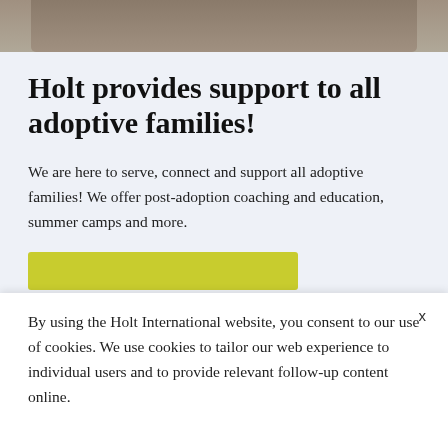[Figure (photo): Partial view of a family photo at the top of the page, cropped]
Holt provides support to all adoptive families!
We are here to serve, connect and support all adoptive families! We offer post-adoption coaching and education, summer camps and more.
[Figure (other): Olive/yellow-green call-to-action button, partially visible]
By using the Holt International website, you consent to our use of cookies. We use cookies to tailor our web experience to individual users and to provide relevant follow-up content online.